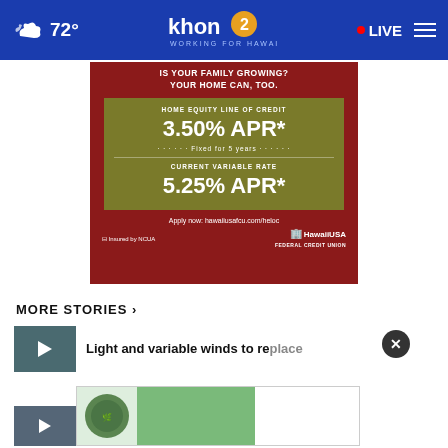72° khon2 WORKING FOR HAWAII • LIVE
[Figure (infographic): HawaiiUSA Federal Credit Union advertisement: Home Equity Line of Credit 3.50% APR* Fixed for 5 years, Current Variable Rate 5.25% APR*. Apply now: hawaiiusafcu.com/heloc]
MORE STORIES ›
Light and variable winds to replace
Trade winds prevail this weekend